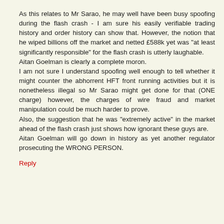As this relates to Mr Sarao, he may well have been busy spoofing during the flash crash - I am sure his easily verifiable trading history and order history can show that. However, the notion that he wiped billions off the market and netted £588k yet was "at least significantly responsible" for the flash crash is utterly laughable. Aitan Goelman is clearly a complete moron. I am not sure I understand spoofing well enough to tell whether it might counter the abhorrent HFT front running activities but it is nonetheless illegal so Mr Sarao might get done for that (ONE charge) however, the charges of wire fraud and market manipulation could be much harder to prove. Also, the suggestion that he was "extremely active" in the market ahead of the flash crash just shows how ignorant these guys are. Aitan Goelman will go down in history as yet another regulator prosecuting the WRONG PERSON.
Reply